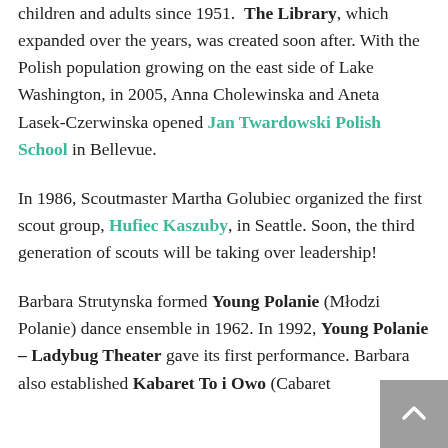children and adults since 1951. The Library, which expanded over the years, was created soon after. With the Polish population growing on the east side of Lake Washington, in 2005, Anna Cholewinska and Aneta Lasek-Czerwinska opened Jan Twardowski Polish School in Bellevue.
In 1986, Scoutmaster Martha Golubiec organized the first scout group, Hufiec Kaszuby, in Seattle. Soon, the third generation of scouts will be taking over leadership!
Barbara Strutynska formed Young Polanie (Młodzi Polanie) dance ensemble in 1962. In 1992, Young Polanie – Ladybug Theater gave its first performance. Barbara also established Kabaret To i Owo (Cabaret